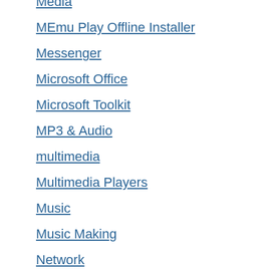Media
MEmu Play Offline Installer
Messenger
Microsoft Office
Microsoft Toolkit
MP3 & Audio
multimedia
Multimedia Players
Music
Music Making
Network
Network Utility
Office and Business Tools
Office Suites